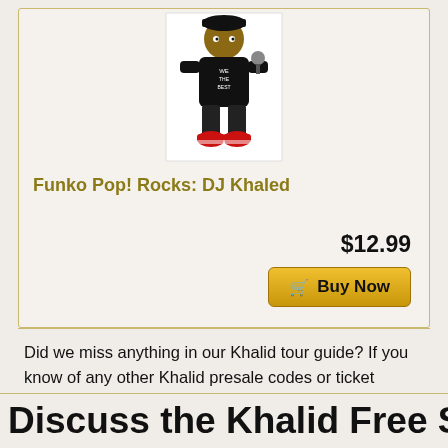[Figure (illustration): Funko Pop! Rocks DJ Khaled vinyl figure — a stylized cartoonish figure wearing black outfit, red sneakers, holding a microphone, with 'We The Best' on shirt]
Funko Pop! Rocks: DJ Khaled
$12.99
Buy Now
Did we miss anything in our Khalid tour guide? If you know of any other Khalid presale codes or ticket details, comment below and let us know.
Follow us on Twitter and Facebook today!
Discuss the Khalid Free Spirit